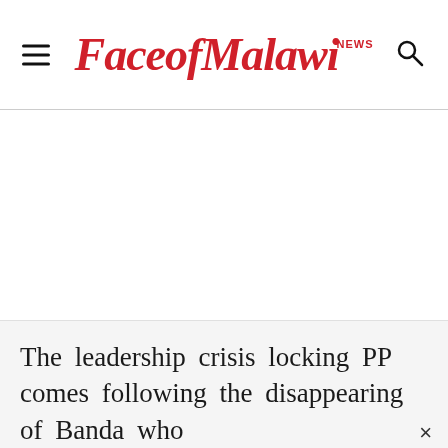FaceofMalawi NEWS
The leadership crisis locking PP comes following the disappearing of Banda who